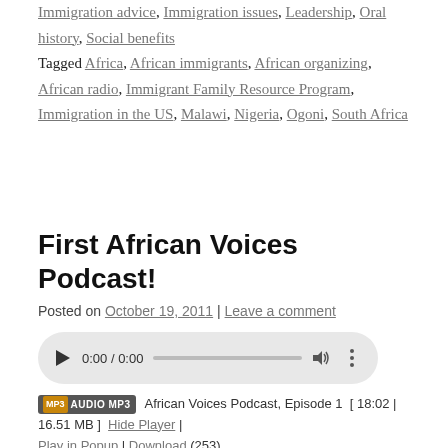Immigration advice, Immigration issues, Leadership, Oral history, Social benefits
Tagged Africa, African immigrants, African organizing, African radio, Immigrant Family Resource Program, Immigration in the US, Malawi, Nigeria, Ogoni, South Africa
First African Voices Podcast!
Posted on October 19, 2011 | Leave a comment
[Figure (other): HTML5 audio player widget showing play button, time display 0:00 / 0:00, progress bar, volume icon, and more options icon]
African Voices Podcast, Episode 1  [ 18:02 | 16.51 MB ]  Hide Player | Play in Popup | Download (253)